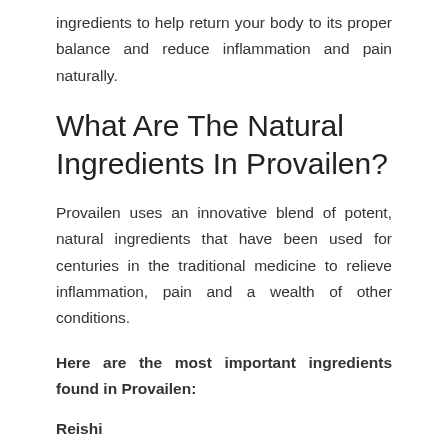ingredients to help return your body to its proper balance and reduce inflammation and pain naturally.
What Are The Natural Ingredients In Provailen?
Provailen uses an innovative blend of potent, natural ingredients that have been used for centuries in the traditional medicine to relieve inflammation, pain and a wealth of other conditions.
Here are the most important ingredients found in Provailen:
Reishi